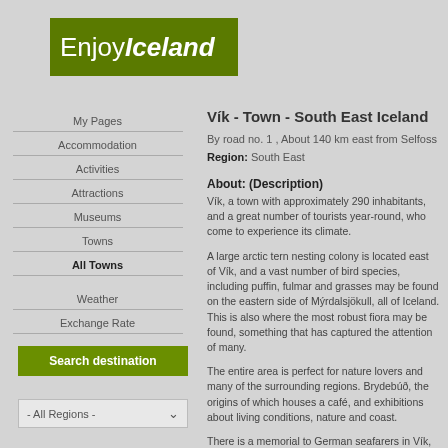[Figure (logo): EnjoyIceland logo — dark green rectangle with white text 'EnjoyIceland' where 'Iceland' is bold]
My Pages
Accommodation
Activities
Attractions
Museums
Towns
All Towns
Weather
Exchange Rate
Vík - Town - South East Iceland
By road no. 1 , About 140 km east from Selfoss
Region: South East
About: (Description)
Vík, a town with approximately 290 inhabitants, and a great number of tourists year-round, who come to experience its climate.
A large arctic tern nesting colony is located east of Vík, and a vast number of bird species, including puffin, fulmar and grasses may be found on the eastern side of Mýrdalsjökull, all of Iceland. This is also where the most robust flora can be found, something that has captured the attention of many.
The entire area is perfect for nature lovers and many of the surrounding regions. Brydebúð, the origins of which houses a café, and exhibitions about living conditions, nature and coast.
There is a memorial to German seafarers in Vík, and Skaftfellingur, a 60-ton vessel built in 1916-19...